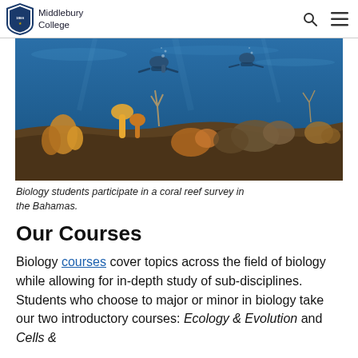Middlebury College
[Figure (photo): Underwater photo of scuba divers and coral reef in the Bahamas]
Biology students participate in a coral reef survey in the Bahamas.
Our Courses
Biology courses cover topics across the field of biology while allowing for in-depth study of sub-disciplines. Students who choose to major or minor in biology take our two introductory courses: Ecology & Evolution and Cells &